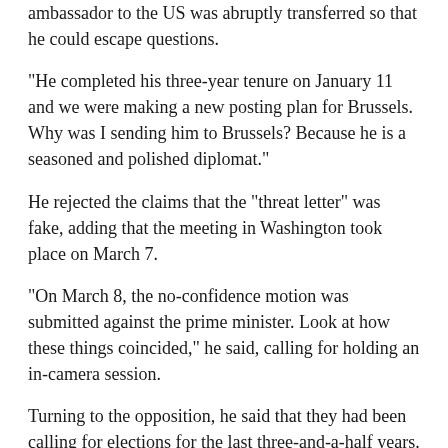ambassador to the US was abruptly transferred so that he could escape questions.
"He completed his three-year tenure on January 11 and we were making a new posting plan for Brussels. Why was I sending him to Brussels? Because he is a seasoned and polished diplomat."
He rejected the claims that the "threat letter" was fake, adding that the meeting in Washington took place on March 7.
"On March 8, the no-confidence motion was submitted against the prime minister. Look at how these things coincided," he said, calling for holding an in-camera session.
Turning to the opposition, he said that they had been calling for elections for the last three-and-a-half years. "They said the elections were not fair and said that Imran Khan was selected. Now when the prime minister said let's hold elections and see what the nation wants, they are not ready for it," he said, calling